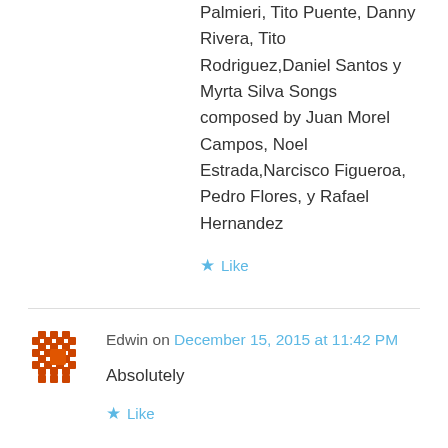Palmieri, Tito Puente, Danny Rivera, Tito Rodriguez,Daniel Santos y Myrta Silva Songs composed by Juan Morel Campos, Noel Estrada,Narcisco Figueroa, Pedro Flores, y Rafael Hernandez
Like
Edwin on December 15, 2015 at 11:42 PM
Absolutely
Like
Javier Cordova on December 15, 2015 at 11:29 PM
Esta es una excelente idea. Definitivamente se